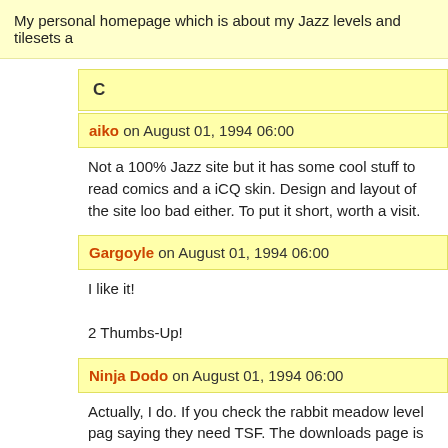My personal homepage which is about my Jazz levels and tilesets a
C
aiko on August 01, 1994 06:00
Not a 100% Jazz site but it has some cool stuff to read comics and a iCQ skin. Design and layout of the site loo bad either. To put it short, worth a visit.
Gargoyle on August 01, 1994 06:00
I like it!

2 Thumbs-Up!
Ninja Dodo on August 01, 1994 06:00
Actually, I do. If you check the rabbit meadow level pag saying they need TSF. The downloads page is just for s to the level page.